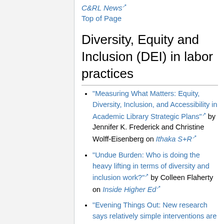C&RL News
Top of Page
Diversity, Equity and Inclusion (DEI) in labor practices
"Measuring What Matters: Equity, Diversity, Inclusion, and Accessibility in Academic Library Strategic Plans" by Jennifer K. Frederick and Christine Wolff-Eisenberg on Ithaka S+R
"Undue Burden: Who is doing the heavy lifting in terms of diversity and inclusion work?" by Colleen Flaherty on Inside Higher Ed
"Evening Things Out: New research says relatively simple interventions are effective in addressing faculty